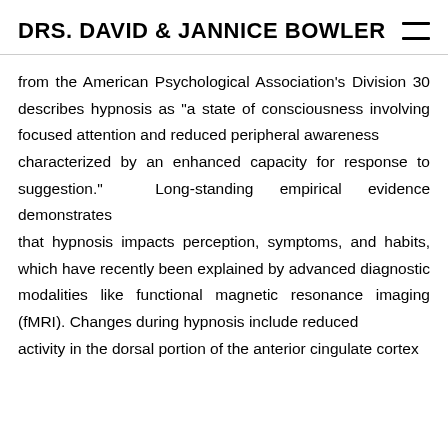DRS. DAVID & JANNICE BOWLER
from the American Psychological Association's Division 30 describes hypnosis as “a state of consciousness involving focused attention and reduced peripheral awareness characterized by an enhanced capacity for response to suggestion.” Long-standing empirical evidence demonstrates that hypnosis impacts perception, symptoms, and habits, which have recently been explained by advanced diagnostic modalities like functional magnetic resonance imaging (fMRI). Changes during hypnosis include reduced activity in the dorsal portion of the anterior cingulate cortex